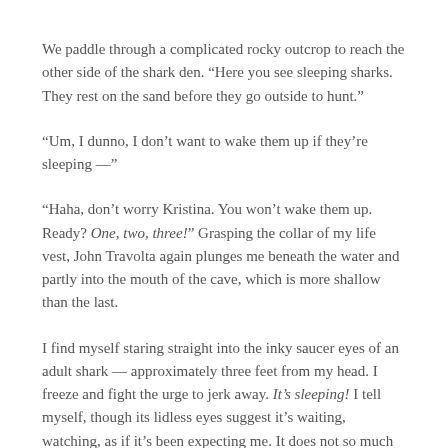We paddle through a complicated rocky outcrop to reach the other side of the shark den. “Here you see sleeping sharks. They rest on the sand before they go outside to hunt.”
“Um, I dunno, I don’t want to wake them up if they’re sleeping —”
“Haha, don’t worry Kristina. You won’t wake them up. Ready? One, two, three!” Grasping the collar of my life vest, John Travolta again plunges me beneath the water and partly into the mouth of the cave, which is more shallow than the last.
I find myself staring straight into the inky saucer eyes of an adult shark — approximately three feet from my head. I freeze and fight the urge to jerk away. It’s sleeping! I tell myself, though its lidless eyes suggest it’s waiting, watching, as if it’s been expecting me. It does not so much as flinch a fin in reaction to my presence. Again I struggle with my iPhone, only to realize that all the fish chasing earlier has killed off the battery.